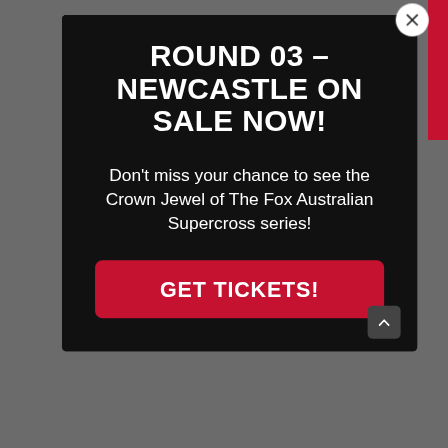ROUND 03 – NEWCASTLE ON SALE NOW!
Don't miss your chance to see the Crown Jewel of The Fox Australian Supercross series!
GET TICKETS!